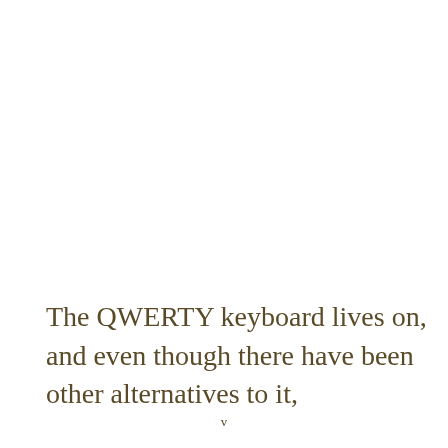The QWERTY keyboard lives on, and even though there have been other alternatives to it,
v